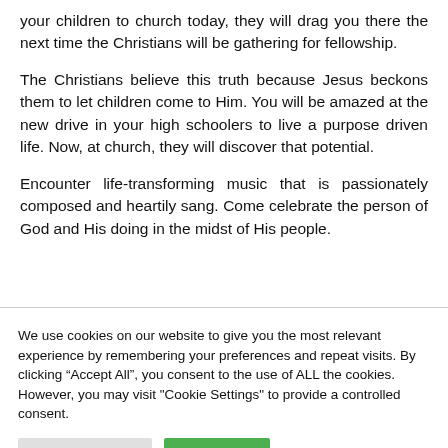your children to church today, they will drag you there the next time the Christians will be gathering for fellowship.
The Christians believe this truth because Jesus beckons them to let children come to Him. You will be amazed at the new drive in your high schoolers to live a purpose driven life. Now, at church, they will discover that potential.
Encounter life-transforming music that is passionately composed and heartily sang. Come celebrate the person of God and His doing in the midst of His people.
We use cookies on our website to give you the most relevant experience by remembering your preferences and repeat visits. By clicking “Accept All”, you consent to the use of ALL the cookies. However, you may visit "Cookie Settings" to provide a controlled consent.
Cookie Settings
Accept All